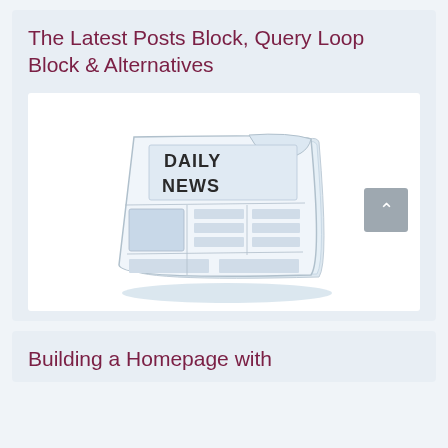The Latest Posts Block, Query Loop Block & Alternatives
[Figure (illustration): Watercolor illustration of a folded newspaper with 'DAILY NEWS' printed on the front page, in shades of blue and grey.]
Building a Homepage with